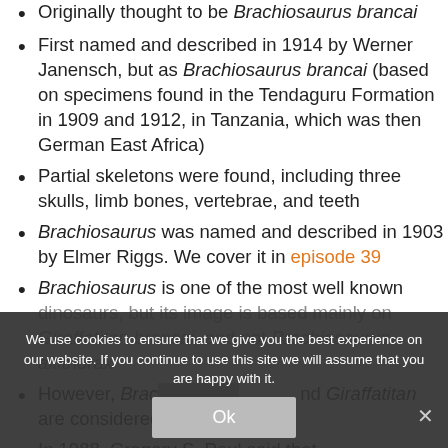Originally thought to be Brachiosaurus brancai
First named and described in 1914 by Werner Janensch, but as Brachiosaurus brancai (based on specimens found in the Tendaguru Formation in 1909 and 1912, in Tanzania, which was then German East Africa)
Partial skeletons were found, including three skulls, limb bones, vertebrae, and teeth
Brachiosaurus was named and described in 1903 by Elmer Riggs. We cover it in episode 39
Brachiosaurus is one of the most well known dinosaurs, but its image is based mainly on Giraffatitan brancai, and not Brachiosaurus altithorax
However, Brachiosaurus and Giraffatitan are considered to be separate genera
In 1988, Gregory S. Paul said that
We use cookies to ensure that we give you the best experience on our website. If you continue to use this site we will assume that you are happy with it.